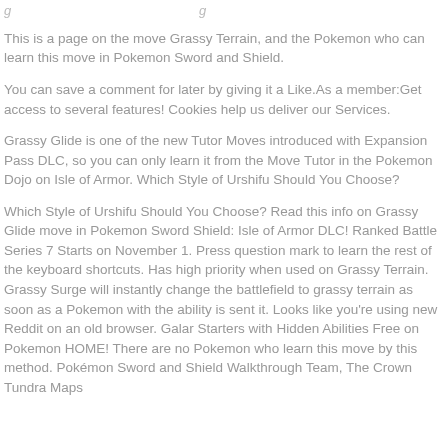This is a page on the move Grassy Terrain, and the Pokemon who can learn this move in Pokemon Sword and Shield.
You can save a comment for later by giving it a Like.As a member:Get access to several features! Cookies help us deliver our Services.
Grassy Glide is one of the new Tutor Moves introduced with Expansion Pass DLC, so you can only learn it from the Move Tutor in the Pokemon Dojo on Isle of Armor. Which Style of Urshifu Should You Choose?
Which Style of Urshifu Should You Choose? Read this info on Grassy Glide move in Pokemon Sword Shield: Isle of Armor DLC! Ranked Battle Series 7 Starts on November 1. Press question mark to learn the rest of the keyboard shortcuts. Has high priority when used on Grassy Terrain. Grassy Surge will instantly change the battlefield to grassy terrain as soon as a Pokemon with the ability is sent it. Looks like you're using new Reddit on an old browser. Galar Starters with Hidden Abilities Free on Pokemon HOME! There are no Pokemon who learn this move by this method. Pokémon Sword and Shield Walkthrough Team, The Crown Tundra Maps